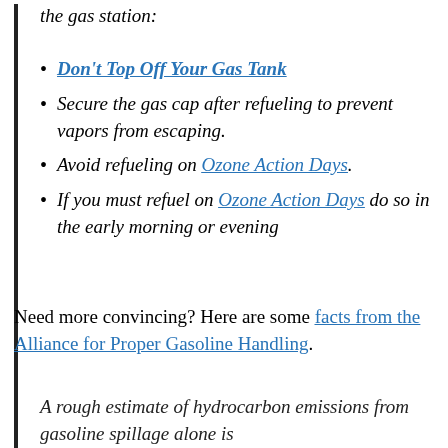the gas station:
Don't Top Off Your Gas Tank
Secure the gas cap after refueling to prevent vapors from escaping.
Avoid refueling on Ozone Action Days.
If you must refuel on Ozone Action Days do so in the early morning or evening
Need more convincing? Here are some facts from the Alliance for Proper Gasoline Handling.
A rough estimate of hydrocarbon emissions from gasoline spillage alone is